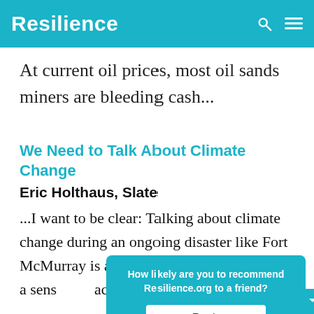Resilience
At current oil prices, most oil sands miners are bleeding cash...
We Need to Talk About Climate Change
Eric Holthaus, Slate
...I want to be clear: Talking about climate change during an ongoing disaster like Fort McMurray is absolutely necessary. There is a sense... acknowledging...